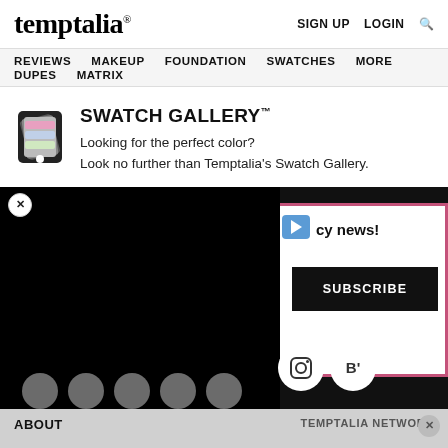temptalia® | SIGN UP | LOGIN | Search
REVIEWS | MAKEUP | FOUNDATION | SWATCHES | MORE | DUPES | MATRIX
SWATCH GALLERY™
Looking for the perfect color?
Look no further than Temptalia's Swatch Gallery.
[Figure (screenshot): Dark overlay ad area with a popup email subscribe box with pink border, a video black area, play button icon, text 'cy news!', SUBSCRIBE button, and social media circle icons (Instagram, Bloglovin).]
ABOUT    TEMPTALIA NETWORK